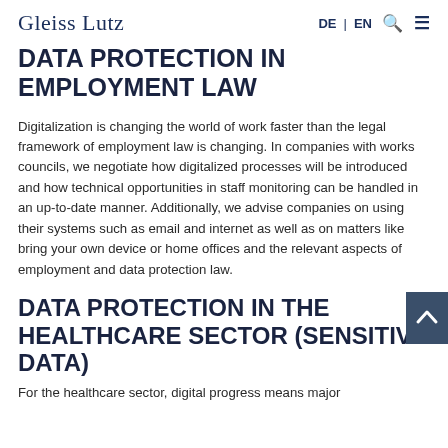Gleiss Lutz  DE | EN
DATA PROTECTION IN EMPLOYMENT LAW
Digitalization is changing the world of work faster than the legal framework of employment law is changing. In companies with works councils, we negotiate how digitalized processes will be introduced and how technical opportunities in staff monitoring can be handled in an up-to-date manner. Additionally, we advise companies on using their systems such as email and internet as well as on matters like bring your own device or home offices and the relevant aspects of employment and data protection law.
DATA PROTECTION IN THE HEALTHCARE SECTOR (SENSITIVE DATA)
For the healthcare sector, digital progress means major